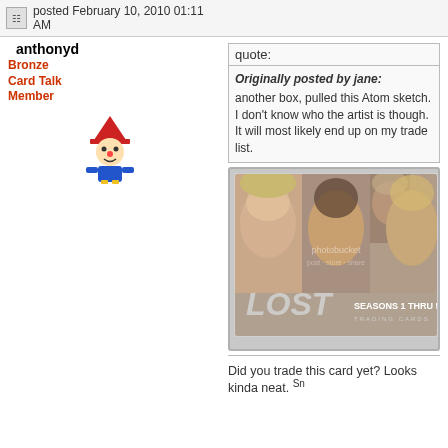posted February 10, 2010 01:11 AM
anthonyd
Bronze Card Talk Member
[Figure (illustration): Clown/robot avatar icon with red hat, blue body, yellow legs]
quote:
Originally posted by jane:
another box, pulled this Atom sketch. I don't know who the artist is though. It will most likely end up on my trade list.
[Figure (photo): LOST Seasons 1 Thru 5 Trading Cards box/card featuring four women characters, with Photobucket watermark overlay. Card shows LOST logo and SEASONS 1 THRU 5 TRADING CARDS text.]
Did you trade this card yet? Looks kinda neat. Sn